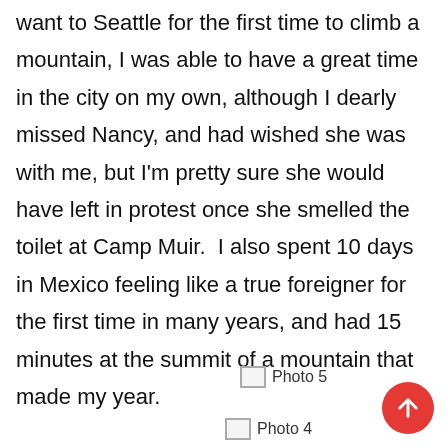want to Seattle for the first time to climb a mountain, I was able to have a great time in the city on my own, although I dearly missed Nancy, and had wished she was with me, but I'm pretty sure she would have left in protest once she smelled the toilet at Camp Muir.  I also spent 10 days in Mexico feeling like a true foreigner for the first time in many years, and had 15 minutes at the summit of a mountain that made my year.
[Figure (photo): Placeholder image labeled Photo 5]
[Figure (photo): Placeholder image labeled Photo 4 (partially visible)]